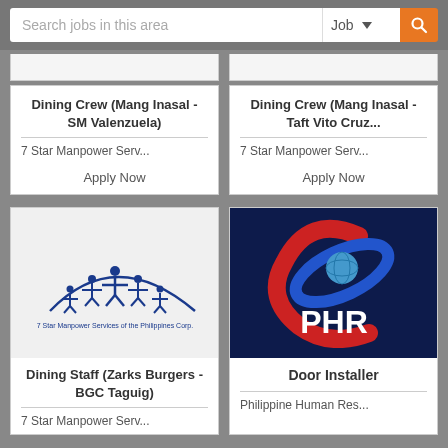[Figure (screenshot): Search bar with text input 'Search jobs in this area', a Job dropdown, and an orange search button]
Dining Crew (Mang Inasal - SM Valenzuela)
7 Star Manpower Serv...
Apply Now
Dining Crew (Mang Inasal - Taft Vito Cruz...)
7 Star Manpower Serv...
Apply Now
[Figure (logo): 7 Star Manpower Services of the Philippines Corp. logo with figures under an arc]
Dining Staff (Zarks Burgers - BGC Taguig)
7 Star Manpower Serv...
[Figure (logo): PHR (Philippine Human Resources) logo - dark blue background with red and blue swoosh and PHR text in white]
Door Installer
Philippine Human Res...